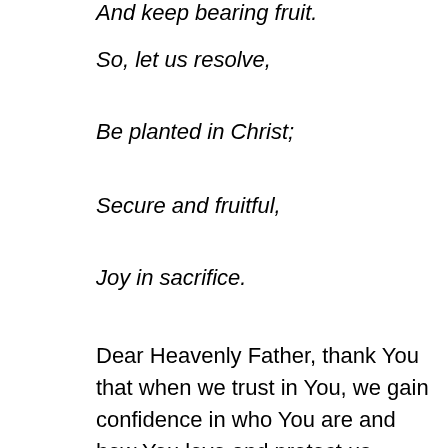And keep bearing fruit.
So, let us resolve,
Be planted in Christ;
Secure and fruitful,
Joy in sacrifice.
Dear Heavenly Father, thank You that when we trust in You, we gain confidence in who You are and how You love and protect us. Thank You that our trust is like the roots of a tree, growing deep and far-reaching, granting us what we need to weather whatever comes